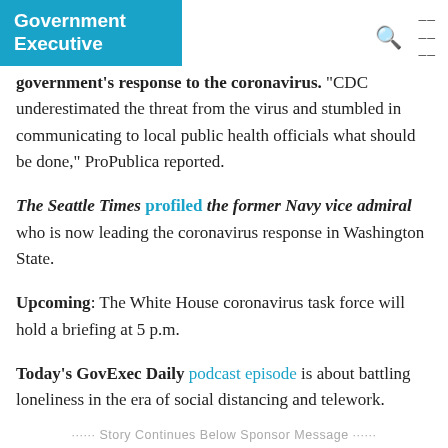Government Executive
government’s response to the coronavirus. “CDC underestimated the threat from the virus and stumbled in communicating to local public health officials what should be done,” ProPublica reported.
The Seattle Times profiled the former Navy vice admiral who is now leading the coronavirus response in Washington State.
Upcoming: The White House coronavirus task force will hold a briefing at 5 p.m.
Today’s GovExec Daily podcast episode is about battling loneliness in the era of social distancing and telework.
······ Story Continues Below Sponsor Message ······